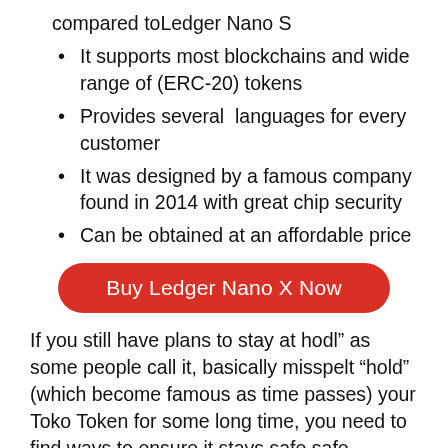compared toLedger Nano S
It supports most blockchains and wide range of (ERC-20) tokens
Provides several  languages for every customer
It was designed by a famous company found in 2014 with great chip security
Can be obtained at an affordable price
[Figure (other): Red rounded button: Buy Ledger Nano X Now]
If you still have plans to stay at hodl” as some people call it, basically misspelt “hold” (which become famous as time passes) your Toko Token for some long time, you need to find ways to ensure it stays safe safe, However Binance is the most safe